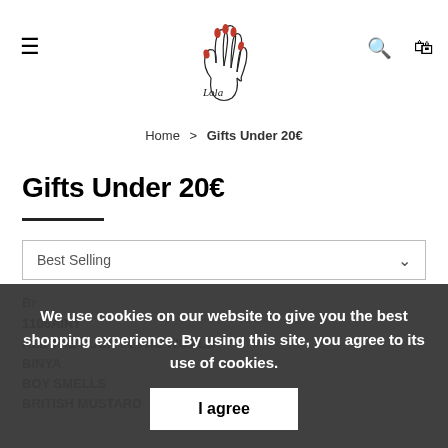[Figure (logo): Hand with red nails holding a line-art logo, script text 'Lola' below]
≡   [logo]   🔍 🛍
Home > Gifts Under 20€
Gifts Under 20€
Best Selling ∨
Br...
1106AIRY
ALL THE LUCK IN THE WORLD
BINYA
BOY SMELLS
BRITISH MUSTARD
We use cookies on our website to give you the best shopping experience. By using this site, you agree to its use of cookies.
I agree